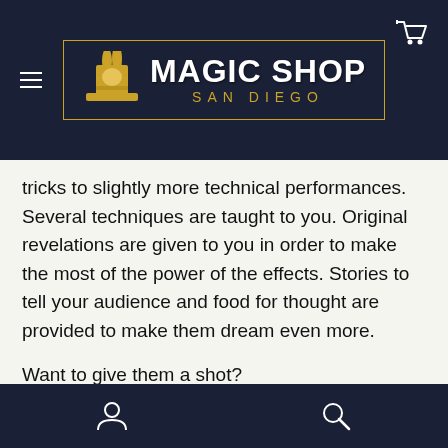Magic Shop San Diego
tricks to slightly more technical performances. Several techniques are taught to you. Original revelations are given to you in order to make the most of the power of the effects. Stories to tell your audience and food for thought are provided to make them dream even more.
Want to give them a shot?
Highlights:
Navigation bar with user and search icons